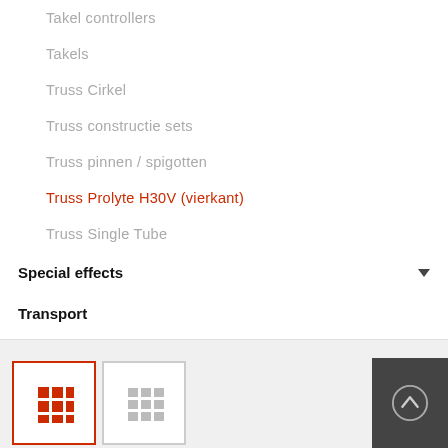Takel controllers
Takels
Truss Cirkel
Truss constructie sets
Truss pinnen / spigotten
Truss Prolyte H30V (vierkant)
Truss Single Tube
Special effects
Transport
[Figure (screenshot): View toggle buttons at bottom: grid view (active, red border) and list view, plus scroll-to-top button]